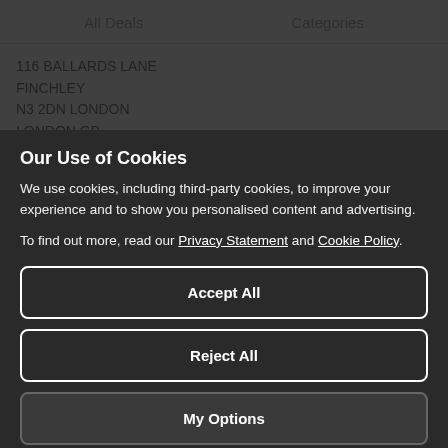All Deals   Categories
116 BALLARDS LANE
FINCHLEY
N3 2DN LONDON
LONDON GB.
Our Use of Cookies
We use cookies, including third-party cookies, to improve your experience and to show you personalised content and advertising.
To find out more, read our Privacy Statement and Cookie Policy.
Accept All
Reject All
My Options